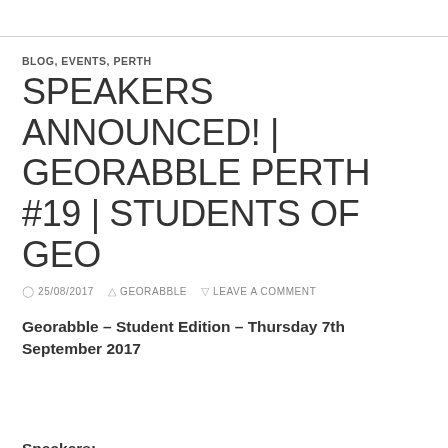BLOG, EVENTS, PERTH
SPEAKERS ANNOUNCED! | GEORABBLE PERTH #19 | STUDENTS OF GEO
25/08/2017  GEORABBLE  LEAVE A COMMENT
Georabble – Student Edition – Thursday 7th September 2017
Speakers: